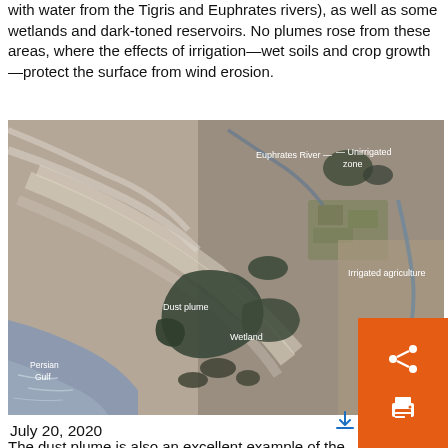with water from the Tigris and Euphrates rivers), as well as some wetlands and dark-toned reservoirs. No plumes rose from these areas, where the effects of irrigation—wet soils and crop growth—protect the surface from wind erosion.
[Figure (photo): Satellite image showing the Euphrates River, Tigris River, Wetland area, Persian Gulf, Dust plume, Irrigated agriculture zone, and Unirrigated zone. Annotated with white text labels. Captured July 20, 2020.]
July 20, 2020
The dust plume is also an excellent example of the interconnected